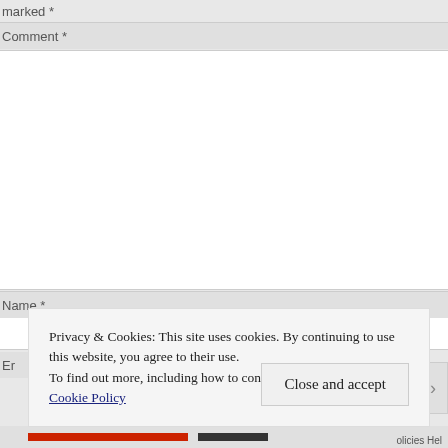marked *
Comment *
Name *
Er
Privacy & Cookies: This site uses cookies. By continuing to use this website, you agree to their use.
To find out more, including how to control cookies, see here: Cookie Policy
Close and accept